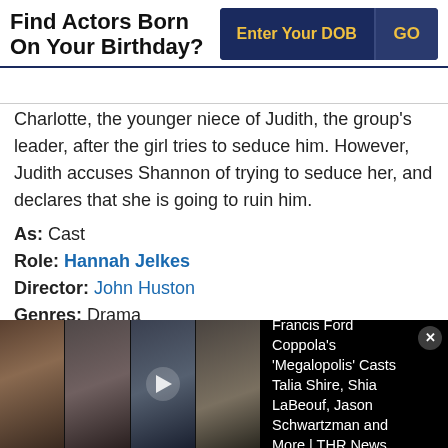Find Actors Born On Your Birthday?
Charlotte, the younger niece of Judith, the group's leader, after the girl tries to seduce him. However, Judith accuses Shannon of trying to seduce her, and declares that she is going to ruin him.
As: Cast
Role: Hannah Jelkes
Director: John Huston
Genres: Drama
Star Cast: Richard Burton, Ava Gardner, Sue Lyon, Skip
[Figure (photo): Bottom video/news banner with four actor photos and news text: Francis Ford Coppola's 'Megalopolis' Casts Talia Shire, Shia LaBeouf, Jason Schwartzman and More | THR News]